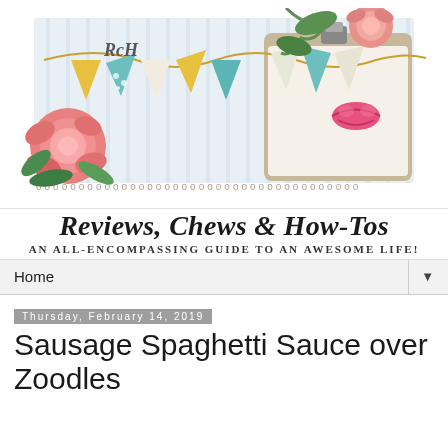[Figure (illustration): Blog header illustration: decorative banner with colorful triangle bunting flags (teal, yellow, white), roses, green leaves, and a clipboard with a lipstick mark. Text 'RCH' monogram visible. Light blue striped background.]
Reviews, Chews & How-Tos
An all-encompassing guide to an AWESOME life!
Home ▼
Thursday, February 14, 2019
Sausage Spaghetti Sauce over Zoodles